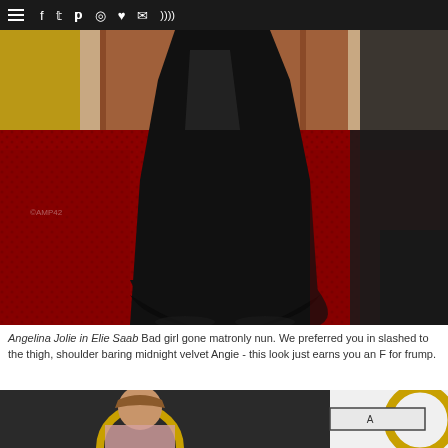≡ f t p ◎ ♥ ✉ )))
[Figure (photo): Angelina Jolie wearing a long black gown on a red carpet at what appears to be the Oscars, lower half of the dress visible with red carpet background]
Angelina Jolie in Elie Saab Bad girl gone matronly nun. We preferred you in slashed to the thigh, shoulder baring midnight velvet Angie - this look just earns you an F for frump.
[Figure (photo): Bottom portion of a second photo showing a woman with brown hair at what appears to be the Oscars, with gold Oscar statues/decor visible in the background, and an advertisement box overlay]